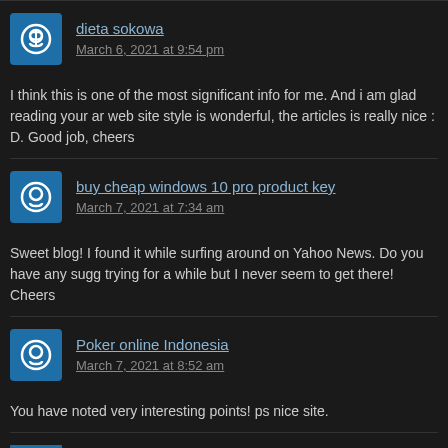dieta sokowa
March 6, 2021 at 9:54 pm
I think this is one of the most significant info for me. And i am glad reading your ar web site style is wonderful, the articles is really nice : D. Good job, cheers
buy cheap windows 10 pro product key
March 7, 2021 at 7:34 am
Sweet blog! I found it while surfing around on Yahoo News. Do you have any sugg trying for a while but I never seem to get there! Cheers
Poker online Indonesia
March 7, 2021 at 8:52 am
You have noted very interesting points! ps nice site.
https://freezingraccoon.com/referral.php